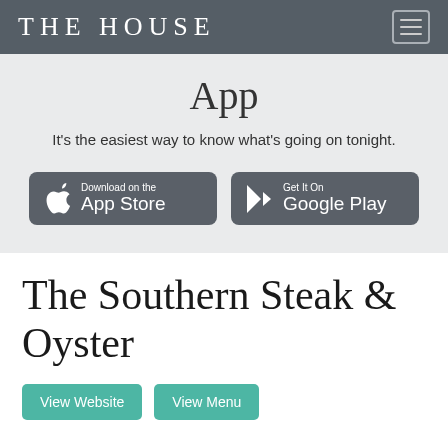THE HOUSE
App
It's the easiest way to know what's going on tonight.
[Figure (logo): Download on the App Store button]
[Figure (logo): Get It On Google Play button]
The Southern Steak & Oyster
View Website
View Menu